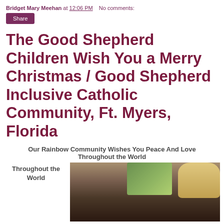Bridget Mary Meehan at 12:06 PM   No comments:
Share
The Good Shepherd Children Wish You a Merry Christmas / Good Shepherd Inclusive Catholic Community, Ft. Myers, Florida
Our Rainbow Community Wishes You Peace And Love Throughout the World
[Figure (photo): Group photo of children and adults at what appears to be a Christmas gathering indoors, with a green decorated background and a lamp visible]